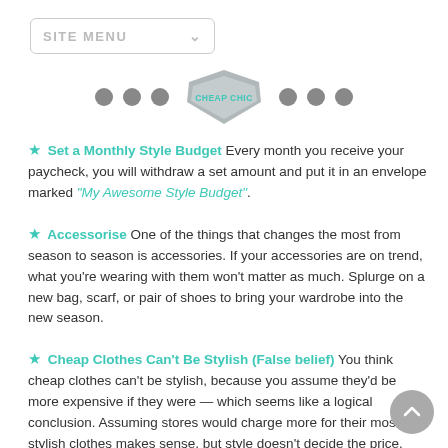SITE MENU | CHEAP CHIC navigation
Set a Monthly Style Budget Every month you receive your paycheck, you will withdraw a set amount and put it in an envelope marked "My Awesome Style Budget".
Accessorise One of the things that changes the most from season to season is accessories. If your accessories are on trend, what you're wearing with them won't matter as much. Splurge on a new bag, scarf, or pair of shoes to bring your wardrobe into the new season.
Cheap Clothes Can't Be Stylish (False belief) You think cheap clothes can't be stylish, because you assume they'd be more expensive if they were — which seems like a logical conclusion. Assuming stores would charge more for their most stylish clothes makes sense, but style doesn't decide the price. Consumers decide the price.